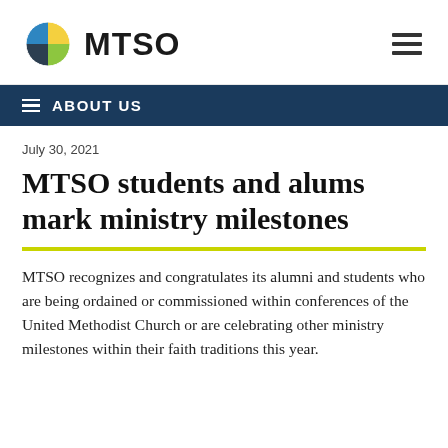[Figure (logo): MTSO logo with circular icon divided into four colored quadrants (blue, yellow, green, dark gray) and the text MTSO in bold dark sans-serif]
ABOUT US
July 30, 2021
MTSO students and alums mark ministry milestones
MTSO recognizes and congratulates its alumni and students who are being ordained or commissioned within conferences of the United Methodist Church or are celebrating other ministry milestones within their faith traditions this year.